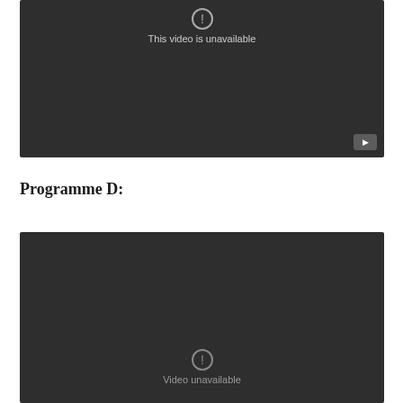[Figure (screenshot): YouTube video player showing 'This video is unavailable' error message on dark background, with YouTube play button icon in bottom right corner.]
Programme D:
[Figure (screenshot): YouTube video player showing 'Video unavailable' error message on dark background, partially cropped at bottom of page.]